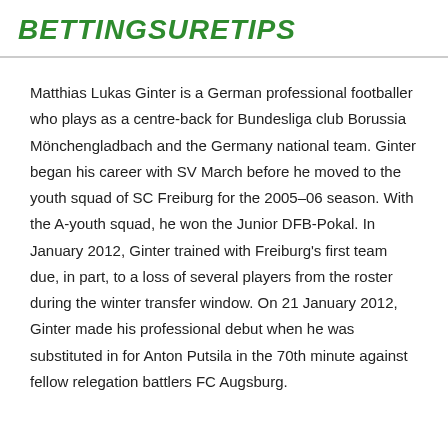BETTINGSURETIPS
Matthias Lukas Ginter is a German professional footballer who plays as a centre-back for Bundesliga club Borussia Mönchengladbach and the Germany national team. Ginter began his career with SV March before he moved to the youth squad of SC Freiburg for the 2005–06 season. With the A-youth squad, he won the Junior DFB-Pokal. In January 2012, Ginter trained with Freiburg's first team due, in part, to a loss of several players from the roster during the winter transfer window. On 21 January 2012, Ginter made his professional debut when he was substituted in for Anton Putsila in the 70th minute against fellow relegation battlers FC Augsburg.